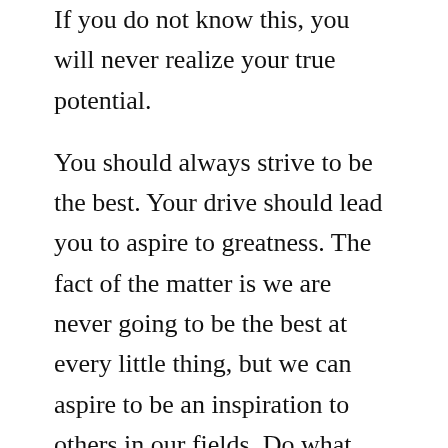If you do not know this, you will never realize your true potential.
You should always strive to be the best. Your drive should lead you to aspire to greatness. The fact of the matter is we are never going to be the best at every little thing, but we can aspire to be an inspiration to others in our fields. Do what you can to improve yourself in your work, and bask in the pride it will bring you.
Failure can seem like a devastating injury to your ego and self-esteem when working on personal development. Failure is only another way of finding out where your true strengths and weaknesses. So, each failure needs to be a proud moment to you, each failure can be viewed as an opportunity to gather important